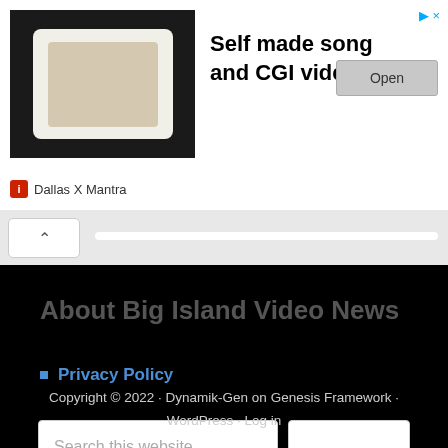[Figure (screenshot): Advertisement banner with image of CGI video thumbnail on dark background]
Self made song and CGI video
Open
Dallas X Mantra
[Figure (screenshot): Scroll area with up arrow button and horizontal scrollbar]
About Big Island Video News
Privacy Policy
Search this website
Copyright © 2022 · Dynamik-Gen on Genesis Framework · WordPress · Log in